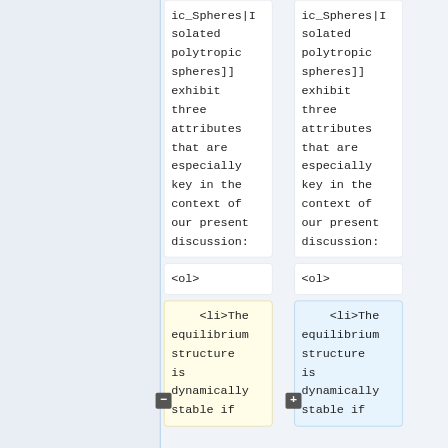ic_Spheres|Isolated polytropic spheres]] exhibit three attributes that are especially key in the context of our present discussion:
ic_Spheres|Isolated polytropic spheres]] exhibit three attributes that are especially key in the context of our present discussion:
<ol>
<ol>
<li>The equilibrium structure is dynamically stable if
<li>The equilibrium structure is dynamically stable if